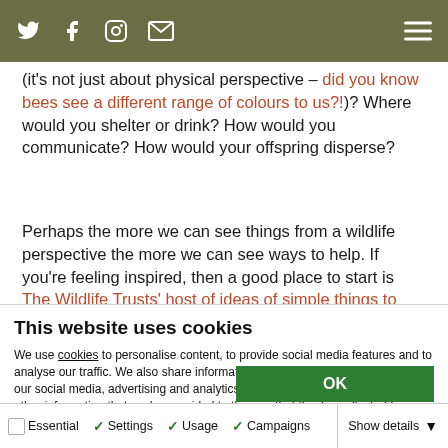[Navigation bar with social media icons and hamburger menu]
(it's not just about physical perspective – did you know bees see a different range of colours to us?!)? Where would you shelter or drink? How would you communicate? How would your offspring disperse?
Perhaps the more we can see things from a wildlife perspective the more we can see ways to help. If you're feeling inspired, then a good place to start is The Wildlife Trusts' host of ideas of simple things to help wildlife.
This website uses cookies
We use cookies to personalise content, to provide social media features and to analyse our traffic. We also share information about your use of our site with our social media, advertising and analytics partners who may combine it with other information that you've provided to them or that they've collected from your use of their services. You consent to our cookies if you continue to use our website.
OK
✓ Essential  ✓ Settings  ✓ Usage  ✓ Campaigns  Show details ▾